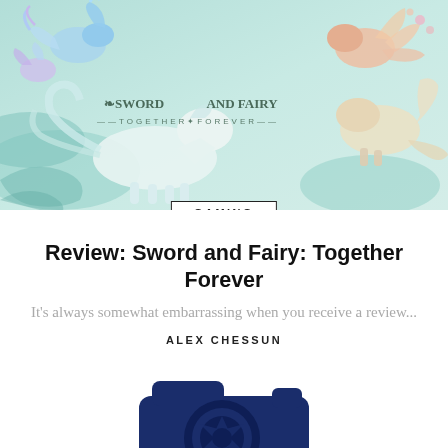[Figure (illustration): Fantasy game art showing mythical creatures including a white horse, colorful bird-like spirits, and fox-like creatures on a mint/teal background, with the game logo 'Sword and Fairy Together Forever' overlaid in the center]
GAMING
Review: Sword and Fairy: Together Forever
It's always somewhat embarrassing when you receive a review...
ALEX CHESSUN
[Figure (illustration): Dark navy blue camera icon/logo silhouette]